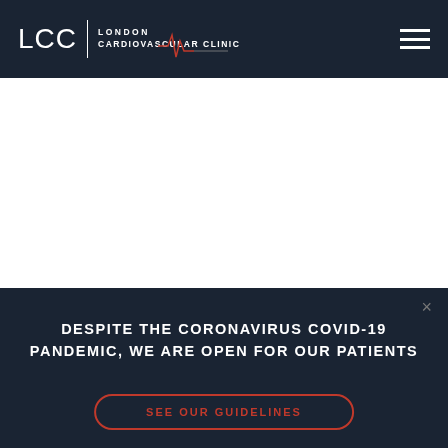[Figure (logo): LCC London Cardiovascular Clinic logo with ECG waveform in header bar]
[Figure (other): White content area (blank/image area)]
DESPITE THE CORONAVIRUS COVID-19 PANDEMIC, WE ARE OPEN FOR OUR PATIENTS
SEE OUR GUIDELINES